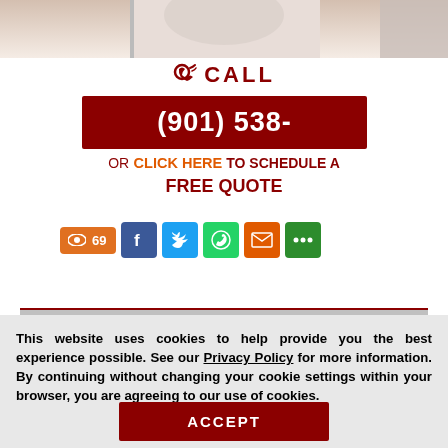[Figure (photo): Partial view of a medical/insurance professional, top of page, cropped]
CALL
(901) 538-
OR  CLICK HERE TO SCHEDULE A FREE QUOTE
[Figure (infographic): Social share row: views badge showing 69, Facebook, Twitter, WhatsApp, Email, More icons]
This website uses cookies to help provide you the best experience possible. See our Privacy Policy for more information. By continuing without changing your cookie settings within your browser, you are agreeing to our use of cookies.
ACCEPT